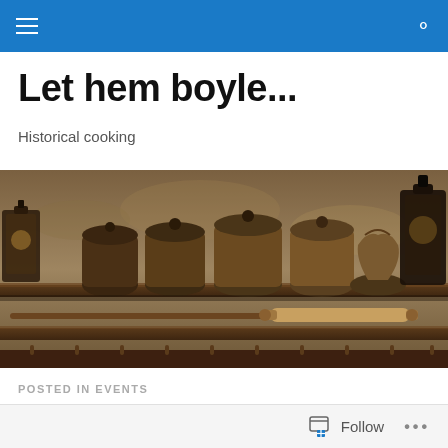Navigation bar with hamburger menu and search icon
Let hem boyle...
Historical cooking
[Figure (photo): Old-fashioned kitchen shelf with clay pots, ceramic jars, lanterns and a wooden rolling pin arranged on wooden shelves, warm brown earthy tones]
POSTED IN EVENTS
Follow ...